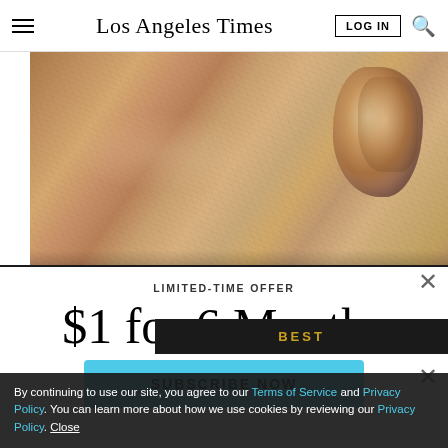Los Angeles Times
[Figure (photo): Close-up photograph of elderly person's skin showing wrinkled cheek and ear area with detailed skin texture]
LIMITED-TIME OFFER
$1 for 6 Months
SUBSCRIBE NOW
By continuing to use our site, you agree to our Terms of Service and Privacy Policy. You can learn more about how we use cookies by reviewing our Privacy Policy. Close